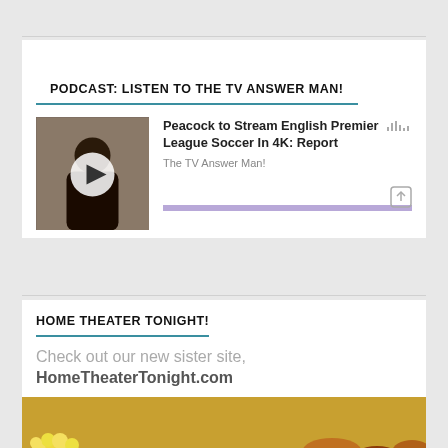PODCAST: LISTEN TO THE TV ANSWER MAN!
[Figure (screenshot): Podcast player widget showing a thumbnail image of a person with a play button overlay, episode title 'Peacock to Stream English Premier League Soccer In 4K: Report', source 'The TV Answer Man!', waveform icon, share icon, and a purple progress bar at the bottom.]
HOME THEATER TONIGHT!
Check out our new sister site, HomeTheaterTonight.com
[Figure (photo): Photo of popcorn in a red and white striped bucket on the left and an assortment of pastries/croissants on a tray on the right.]